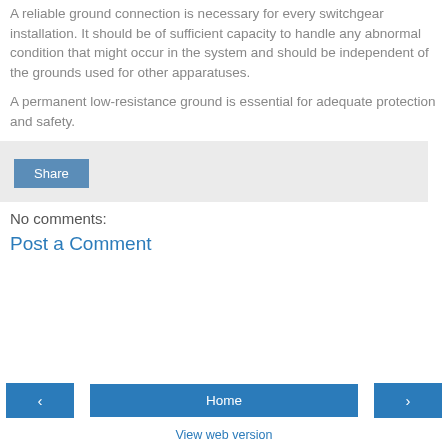A reliable ground connection is necessary for every switchgear installation. It should be of sufficient capacity to handle any abnormal condition that might occur in the system and should be independent of the grounds used for other apparatuses.
A permanent low-resistance ground is essential for adequate protection and safety.
[Figure (screenshot): Share button widget area with light gray background]
No comments:
Post a Comment
◄   Home   ►   View web version